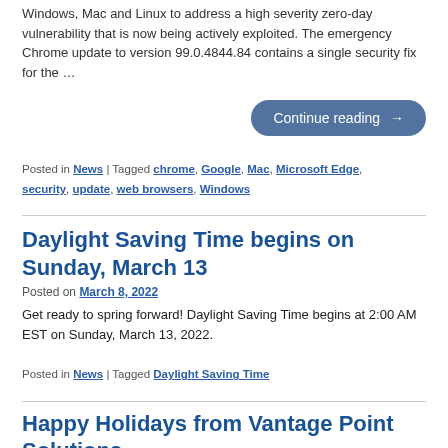Windows, Mac and Linux to address a high severity zero-day vulnerability that is now being actively exploited. The emergency Chrome update to version 99.0.4844.84 contains a single security fix for the …
Continue reading →
Posted in News | Tagged chrome, Google, Mac, Microsoft Edge, security, update, web browsers, Windows
Daylight Saving Time begins on Sunday, March 13
Posted on March 8, 2022
Get ready to spring forward! Daylight Saving Time begins at 2:00 AM EST on Sunday, March 13, 2022.
Posted in News | Tagged Daylight Saving Time
Happy Holidays from Vantage Point Solutions